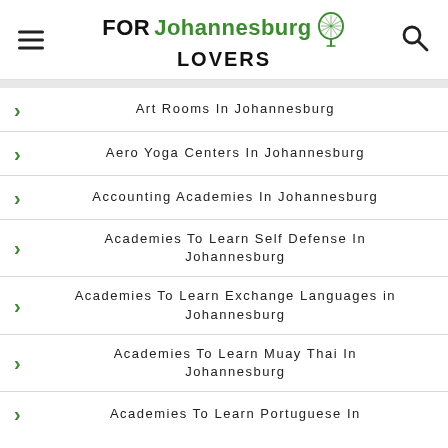FOR Johannesburg LOVERS
Art Rooms In Johannesburg
Aero Yoga Centers In Johannesburg
Accounting Academies In Johannesburg
Academies To Learn Self Defense In Johannesburg
Academies To Learn Exchange Languages in Johannesburg
Academies To Learn Muay Thai In Johannesburg
Academies To Learn Portuguese In